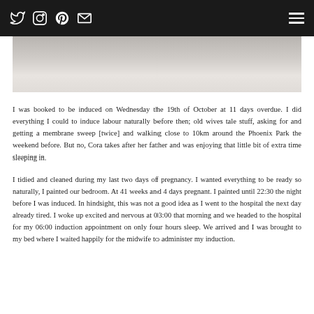Social media icons (Twitter, Instagram, Pinterest, Email) and hamburger menu
[Figure (photo): Close-up photo of a newborn baby wrapped in white cloth, soft muted tones]
I was booked to be induced on Wednesday the 19th of October at 11 days overdue. I did everything I could to induce labour naturally before then; old wives tale stuff, asking for and getting a membrane sweep [twice] and walking close to 10km around the Phoenix Park the weekend before. But no, Cora takes after her father and was enjoying that little bit of extra time sleeping in.
I tidied and cleaned during my last two days of pregnancy. I wanted everything to be ready so naturally, I painted our bedroom. At 41 weeks and 4 days pregnant. I painted until 22:30 the night before I was induced. In hindsight, this was not a good idea as I went to the hospital the next day already tired. I woke up excited and nervous at 03:00 that morning and we headed to the hospital for my 06:00 induction appointment on only four hours sleep. We arrived and I was brought to my bed where I waited happily for the midwife to administer my induction.